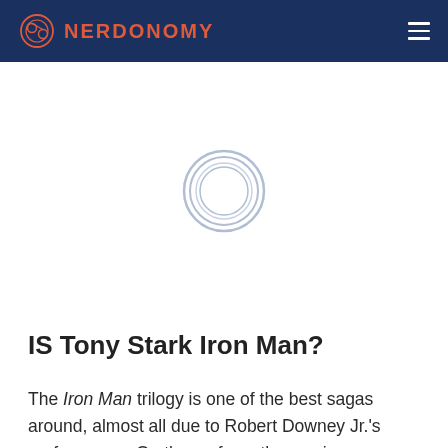NERDONOMY
[Figure (illustration): Loading spinner / circular logo placeholder centered in white area below header]
IS Tony Stark Iron Man?
The Iron Man trilogy is one of the best sagas around, almost all due to Robert Downey Jr.'s performance. On the surface, the movies are connected, but I